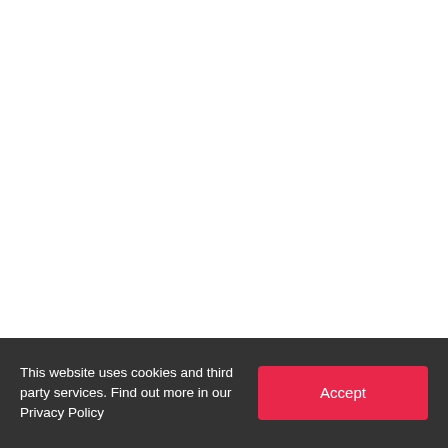This website uses cookies and third party services. Find out more in our Privacy Policy